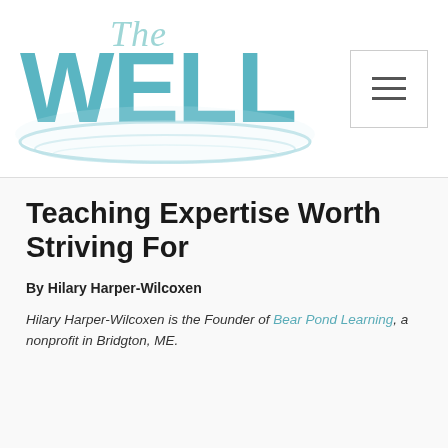[Figure (logo): The Well logo — cursive 'The' above large teal block letters 'WELL' with water ripple ellipse beneath]
Teaching Expertise Worth Striving For
By Hilary Harper-Wilcoxen
Hilary Harper-Wilcoxen is the Founder of Bear Pond Learning, a nonprofit in Bridgton, ME.